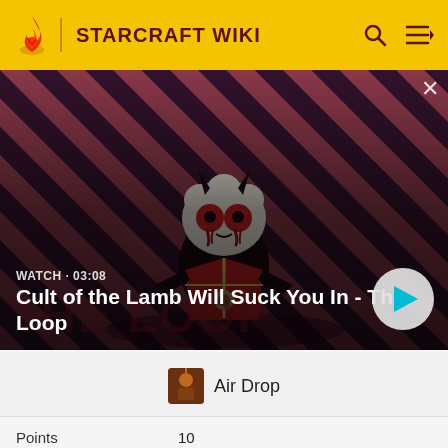STARCRAFT WIKI
[Figure (screenshot): Video thumbnail showing a stylized cartoon lamb character with devil horns and red glowing eyes on a diagonal striped red/purple background. Text overlay: 'WATCH · 03:08' and title 'Cult of the Lamb Will Suck You In - The Loop' with a play button on the right.]
Air Drop
| Points | 10 |
| Criteria | Use Drop-Pods 3 times in a single |